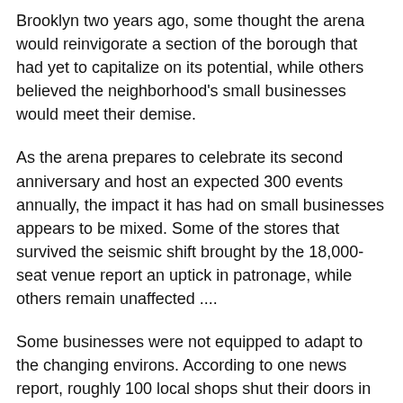Brooklyn two years ago, some thought the arena would reinvigorate a section of the borough that had yet to capitalize on its potential, while others believed the neighborhood's small businesses would meet their demise.
As the arena prepares to celebrate its second anniversary and host an expected 300 events annually, the impact it has had on small businesses appears to be mixed. Some of the stores that survived the seismic shift brought by the 18,000-seat venue report an uptick in patronage, while others remain unaffected ....
Some businesses were not equipped to adapt to the changing environs. According to one news report, roughly 100 local shops shut their doors in the Barclays Center's first year.
Robert Perris, the district manager for Brooklyn's Community Board 2, which includes the Barclays Center, corroborated that the type of businesses